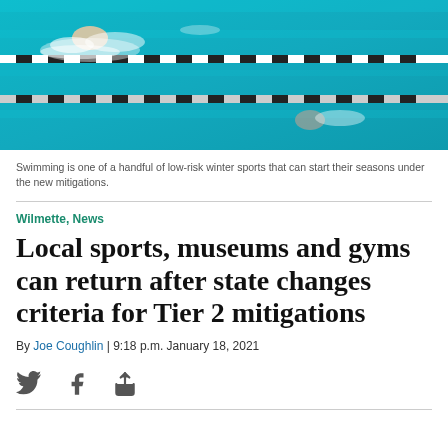[Figure (photo): Two swimmers doing freestyle crawl in a swimming pool with lane dividers, aerial/side view showing blue water and black lane ropes]
Swimming is one of a handful of low-risk winter sports that can start their seasons under the new mitigations.
Wilmette, News
Local sports, museums and gyms can return after state changes criteria for Tier 2 mitigations
By Joe Coughlin | 9:18 p.m. January 18, 2021